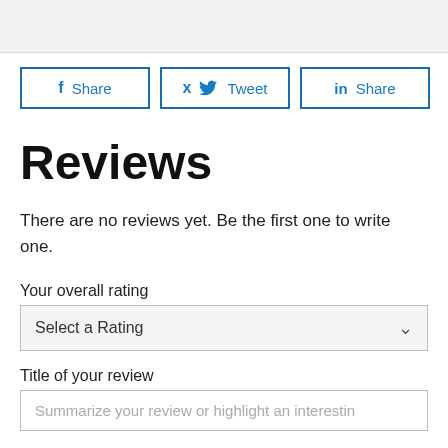[Figure (other): Gray header/banner area at top of page]
f Share   Tweet   in Share
Reviews
There are no reviews yet. Be the first one to write one.
Your overall rating
Select a Rating
Title of your review
Summarize your review or highlight an interesting